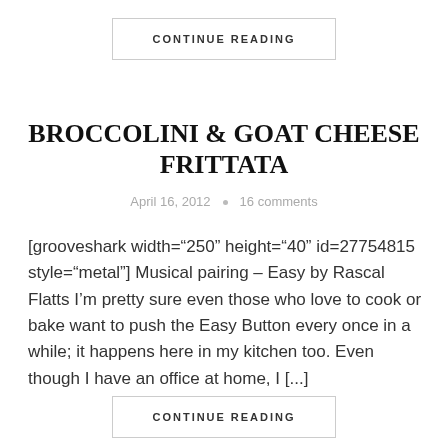CONTINUE READING
BROCCOLINI & GOAT CHEESE FRITTATA
April 16, 2012 • 16 comments
[grooveshark width="250" height="40" id=27754815 style="metal"] Musical pairing – Easy by Rascal Flatts I'm pretty sure even those who love to cook or bake want to push the Easy Button every once in a while; it happens here in my kitchen too. Even though I have an office at home, I [...]
CONTINUE READING